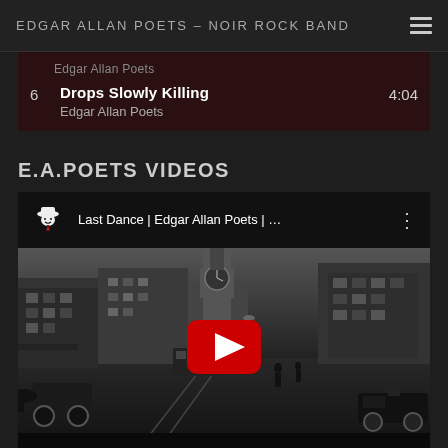EDGAR ALLAN POETS – NOIR ROCK BAND
6  Drops Slowly Killing  4:04  Edgar Allan Poets
E.A.POETS VIDEOS
[Figure (screenshot): YouTube video embed showing 'Last Dance | Edgar Allan Poets | ...' with a black-and-white historical street scene as the thumbnail, featuring a red YouTube play button in the center and the band's logo icon in the top-left corner.]